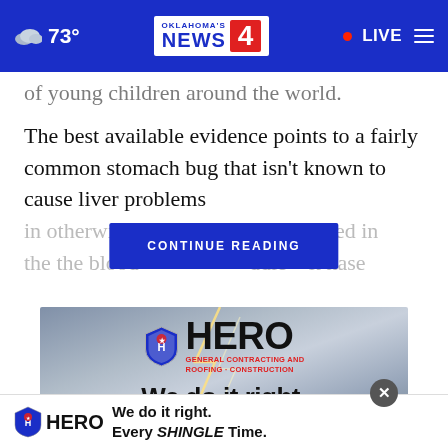73° Oklahoma's News 4 • LIVE
of young children around the world.
The best available evidence points to a fairly common stomach bug that isn't known to cause liver problems in otherwise he[—]s detected in the the blood[—]ddle—it hase
[Figure (screenshot): CONTINUE READING button overlay in dark blue]
[Figure (photo): HERO General Contracting and Construction advertisement with lightning storm background. Text: We do it right.]
[Figure (screenshot): Bottom ad bar: HERO logo with text 'We do it right. Every SHINGLE Time.']